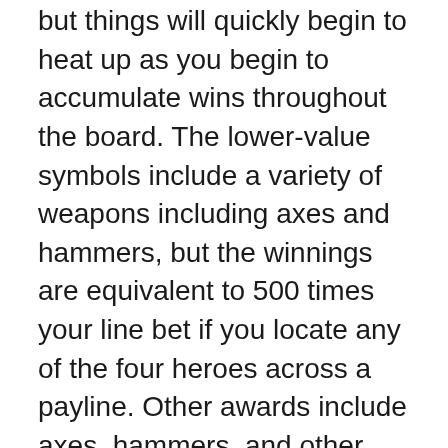but things will quickly begin to heat up as you begin to accumulate wins throughout the board. The lower-value symbols include a variety of weapons including axes and hammers, but the winnings are equivalent to 500 times your line bet if you locate any of the four heroes across a payline. Other awards include axes, hammers, and other various weapons.
IGT refers to the stacked symbols included in Dungeons & Dragons Treasure of Icewind Dale as “Dynamic Stacked Symbols.” This implies that on each spin, a randomly selected symbol will be stacked many times in order to improve its chances of completing winning combos. You have a chance of winning some very impressive sums of money if the stacked symbol gets the bonus